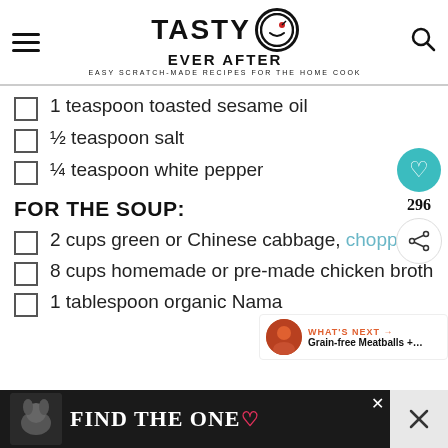TASTY EVER AFTER — EASY SCRATCH-MADE RECIPES FOR THE HOME COOK
1 teaspoon toasted sesame oil
½ teaspoon salt
¼ teaspoon white pepper
FOR THE SOUP:
2 cups green or Chinese cabbage, chopped
8 cups homemade or pre-made chicken broth
1 tablespoon organic Nama
[Figure (other): Ad banner: dog with 'FIND THE ONE' text]